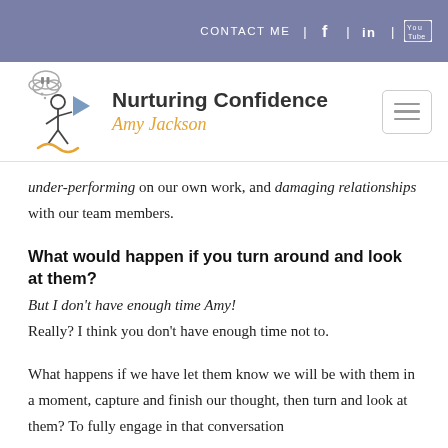CONTACT ME | f | in | YouTube
[Figure (logo): Nurturing Confidence logo with stick figure and Amy Jackson script text]
under-performing on our own work, and damaging relationships with our team members.
What would happen if you turn around and look at them?
But I don't have enough time Amy!
Really? I think you don't have enough time not to.
What happens if we have let them know we will be with them in a moment, capture and finish our thought, then turn and look at them? To fully engage in that conversation